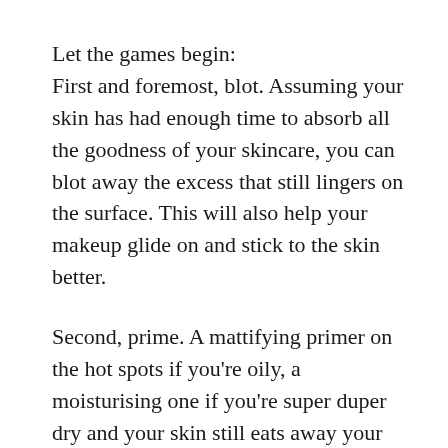Let the games begin:
First and foremost, blot. Assuming your skin has had enough time to absorb all the goodness of your skincare, you can blot away the excess that still lingers on the surface. This will also help your makeup glide on and stick to the skin better.
Second, prime. A mattifying primer on the hot spots if you're oily, a moisturising one if you're super duper dry and your skin still eats away your foundation or starts to crackle up despite high maintenance hydration, a generic one to make it just stay on longer, a silicone-based one for those who struggle with large pores and